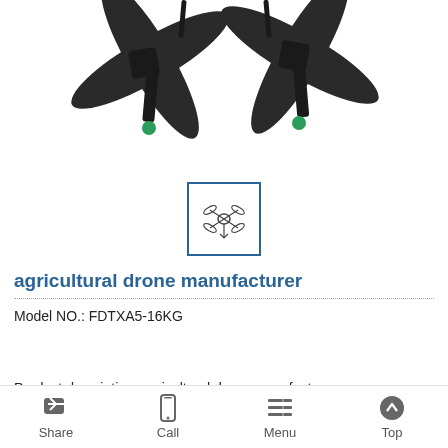[Figure (photo): Agricultural drone with multiple rotors, showing propellers and green motor tips, photographed from above against white background.]
[Figure (logo): Small square logo with blue border containing a drone icon in the center.]
agricultural drone manufacturer
Model NO.: FDTXA5-16KG
Product description: agricultural drone manufacturer
Share   Call   Menu   Top